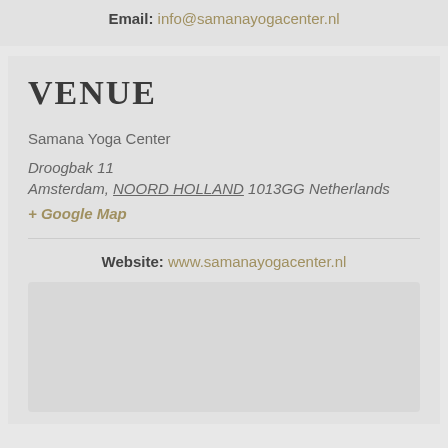Email: info@samanayogacenter.nl
VENUE
Samana Yoga Center
Droogbak 11
Amsterdam, NOORD HOLLAND 1013GG Netherlands
+ Google Map
Website: www.samanayogacenter.nl
[Figure (other): Embedded map placeholder (light gray box)]